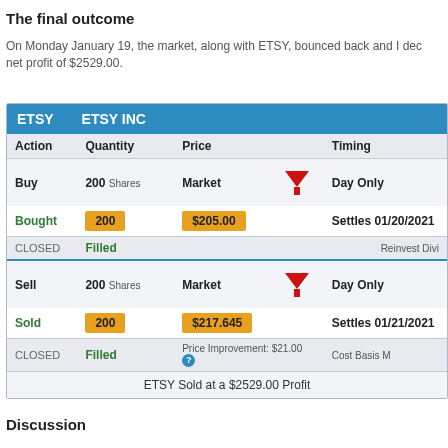The final outcome
On Monday January 19, the market, along with ETSY, bounced back and I dec net profit of $2529.00.
| Action | Quantity | Price |  | Timing |
| --- | --- | --- | --- | --- |
| Buy | 200 Shares | Market |  | Day Only |
| Bought | 200 | $205.00 |  | Settles 01/20/2021 |
| CLOSED | Filled |  |  | Reinvest Divi |
| Sell | 200 Shares | Market |  | Day Only |
| Sold | 200 | $217.645 |  | Settles 01/21/2021 |
| CLOSED | Filled | Price Improvement: $21.00 |  | Cost Basis M |
|  |  | ETSY Sold at a $2529.00 Profit |  |  |
Discussion